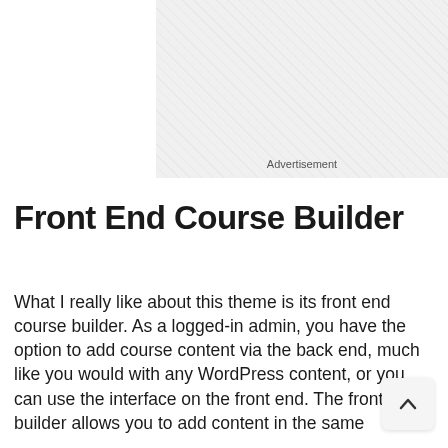[Figure (other): Advertisement placeholder box with hatched gray background and 'Advertisement' label at the bottom center]
Front End Course Builder
What I really like about this theme is its front end course builder. As a logged-in admin, you have the option to add course content via the back end, much like you would with any WordPress content, or you can use the interface on the front end. The front end builder allows you to add content in the same